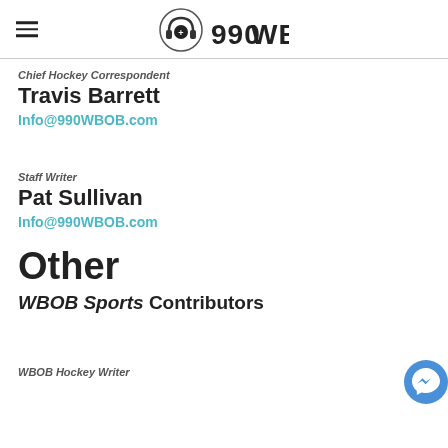990WBOB
Chief Hockey Correspondent
Travis Barrett
Info@990WBOB.com
Staff Writer
Pat Sullivan
Info@990WBOB.com
Other
WBOB Sports Contributors
WBOB Hockey Writer